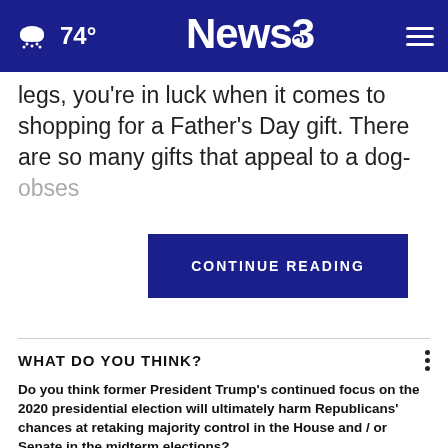74° News3
legs, you're in luck when it comes to shopping for a Father's Day gift. There are so many gifts that appeal to a dog-obses
[Figure (other): CONTINUE READING button overlay in dark navy blue]
WHAT DO YOU THINK?
Do you think former President Trump's continued focus on the 2020 presidential election will ultimately harm Republicans' chances at retaking majority control in the House and / or Senate in the midterm elections?
Yes, I think so
Maybe, I'm not sure
No, I don't think so